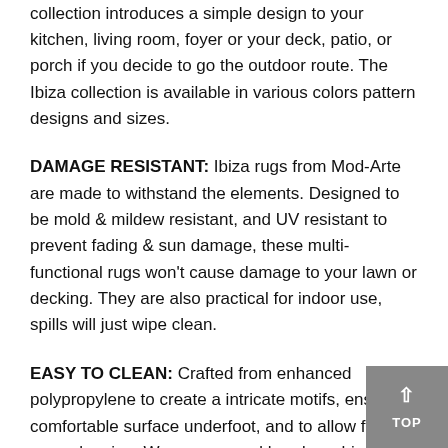the outdoor elements all year round but will equally be right at home in the interior of your house. This collection introduces a simple design to your kitchen, living room, foyer or your deck, patio, or porch if you decide to go the outdoor route. The Ibiza collection is available in various colors pattern designs and sizes.
DAMAGE RESISTANT: Ibiza rugs from Mod-Arte are made to withstand the elements. Designed to be mold & mildew resistant, and UV resistant to prevent fading & sun damage, these multi-functional rugs won't cause damage to your lawn or decking. They are also practical for indoor use, spills will just wipe clean.
EASY TO CLEAN: Crafted from enhanced polypropylene to create a intricate motifs, ensure a comfortable surface underfoot, and to allow for easy cleaning. We recommend hand-washing this rug as the best method to remove dirt and dust. Just wash with mild soap and rinse with a hose.
MOD-ARTE PROMISE: Our goal is to deliver craft rugs of